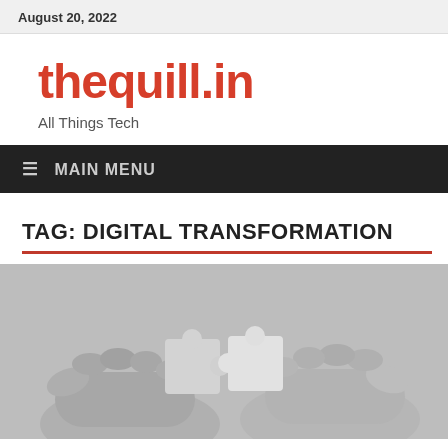August 20, 2022
thequill.in
All Things Tech
≡  MAIN MENU
TAG: DIGITAL TRANSFORMATION
[Figure (photo): Black and white photo of two hands holding puzzle pieces toward each other]